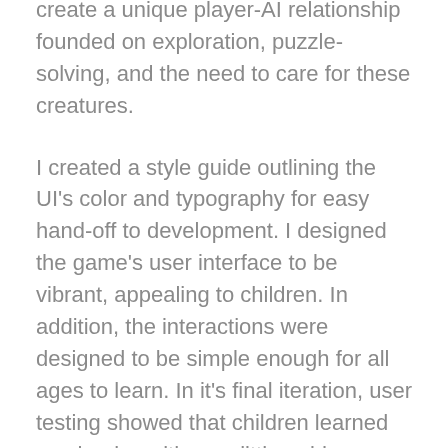create a unique player-AI relationship founded on exploration, puzzle-solving, and the need to care for these creatures.
I created a style guide outlining the UI's color and typography for easy hand-off to development. I designed the game's user interface to be vibrant, appealing to children. In addition, the interactions were designed to be simple enough for all ages to learn. In it's final iteration, user testing showed that children learned mechanics with very little guidance, which was my primary goal.
The game is available to play on Steam.